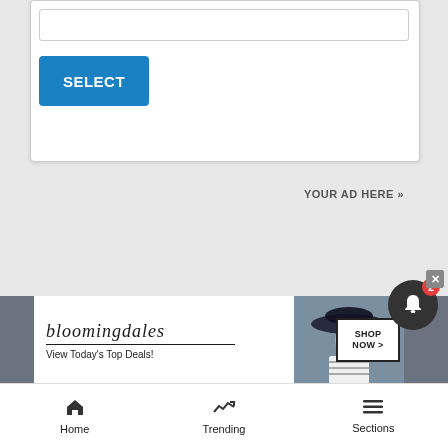[Figure (screenshot): A white card UI element with an input bar at the top and a blue SELECT button below it, on a light gray background.]
YOUR AD HERE »
[Figure (screenshot): Bloomingdale's advertisement banner: logo text 'bloomingdales', tagline 'View Today's Top Deals!', fashion model wearing a hat, and a 'SHOP NOW >' button.]
[Figure (screenshot): Dark notification bell icon with a red badge showing '2' and an X close button in the top-right corner.]
Home  Trending  Sections